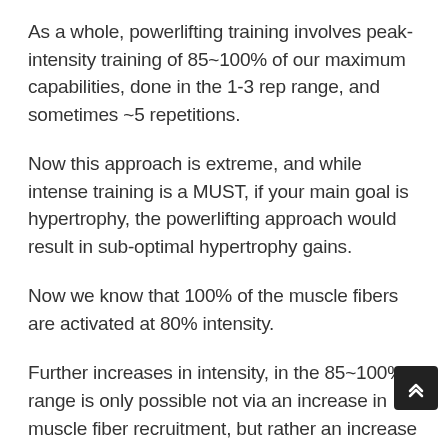As a whole, powerlifting training involves peak-intensity training of 85~100% of our maximum capabilities, done in the 1-3 rep range, and sometimes ~5 repetitions.
Now this approach is extreme, and while intense training is a MUST, if your main goal is hypertrophy, the powerlifting approach would result in sub-optimal hypertrophy gains.
Now we know that 100% of the muscle fibers are activated at 80% intensity.
Further increases in intensity, in the 85~100% range is only possible not via an increase in muscle fiber recruitment, but rather an increase of neuro-muscular impulses via the central nervous system.
Therefore, the powerlifting approach to training